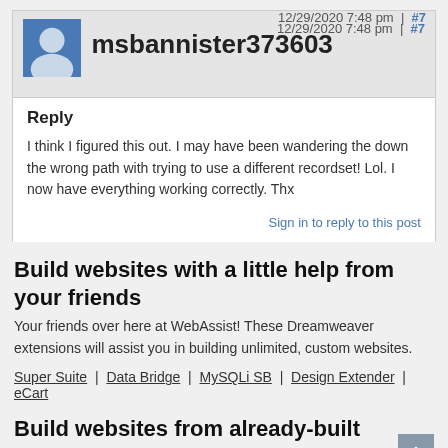12/29/2020 7:48 pm | #7
msbannister373603
Reply
I think I figured this out. I may have been wandering the down the wrong path with trying to use a different recordset! Lol. I now have everything working correctly. Thx
Sign in to reply to this post
Build websites with a little help from your friends
Your friends over here at WebAssist! These Dreamweaver extensions will assist you in building unlimited, custom websites.
Super Suite  |  Data Bridge  |  MySQLi SB  |  Design Extender  |  eCart
Build websites from already-built web applications
These out-of-the-box solutions provide you proven, tested applications that